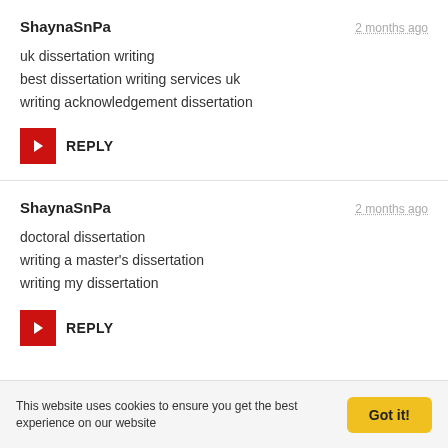ShaynaSnPa
2 months ago
uk dissertation writing
best dissertation writing services uk
writing acknowledgement dissertation
REPLY
ShaynaSnPa
2 months ago
doctoral dissertation
writing a master's dissertation
writing my dissertation
REPLY
This website uses cookies to ensure you get the best experience on our website
Got it!